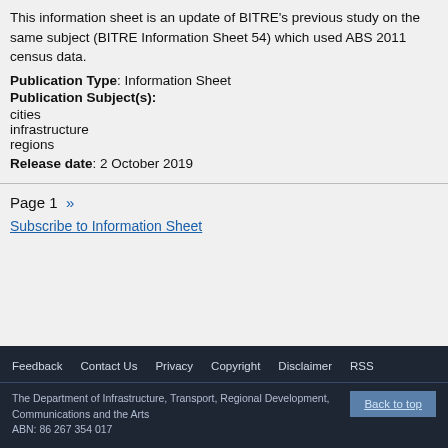This information sheet is an update of BITRE's previous study on the same subject (BITRE Information Sheet 54) which used ABS 2011 census data.
Publication Type: Information Sheet
Publication Subject(s):
cities
infrastructure
regions
Release date: 2 October 2019
Page 1 »
Subscribe to Information Sheet
Feedback   Contact Us   Privacy   Copyright   Disclaimer   RSS
The Department of Infrastructure, Transport, Regional Development, Communications and the Arts
ABN: 86 267 354 017
Back to top